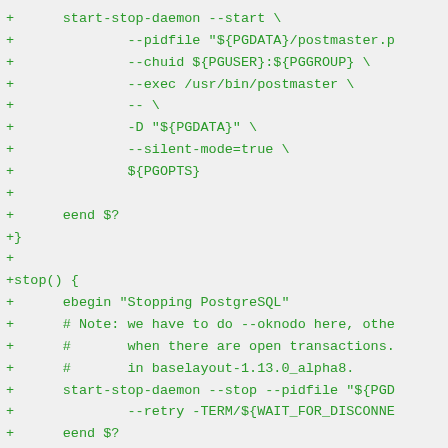+      start-stop-daemon --start \
+              --pidfile "${PGDATA}/postmaster.p
+              --chuid ${PGUSER}:${PGGROUP} \
+              --exec /usr/bin/postmaster \
+              -- \
+              -D "${PGDATA}" \
+              --silent-mode=true \
+              ${PGOPTS}
+
+      eend $?
+}
+
+stop() {
+      ebegin "Stopping PostgreSQL"
+      # Note: we have to do --oknodo here, othe
+      #       when there are open transactions.
+      #       in baselayout-1.13.0_alpha8.
+      start-stop-daemon --stop --pidfile "${PGD
+              --retry -TERM/${WAIT_FOR_DISCONNE
+      eend $?
+}